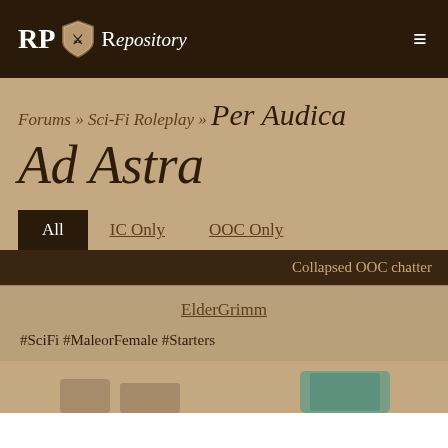RP Repository (logo) ≡
Forums » Sci-Fi Roleplay » Per Audica Ad Astra
All | IC Only | OOC Only
Collapsed OOC chatter
ElderGrimm
#SciFi #MaleorFemale #Starters